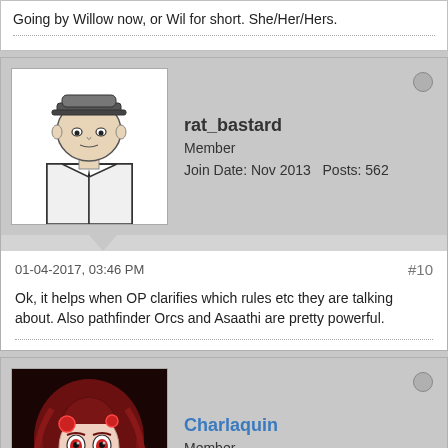Going by Willow now, or Wil for short. She/Her/Hers.
rat_bastard
Member
Join Date: Nov 2013   Posts: 562
01-04-2017, 03:46 PM
#10
Ok, it helps when OP clarifies which rules etc they are talking about. Also pathfinder Orcs and Asaathi are pretty powerful.
Charlaquin
Member
Join Date: Nov 2013   Posts: 10829
01-05-2017, 02:56 AM
#11